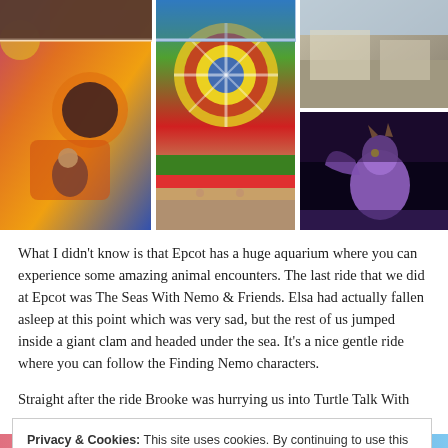[Figure (photo): Three-panel photo grid showing Epcot attractions: left panel shows a child at an interactive ride with colorful orange/blue decor, center panel shows a large colorful wheel/spinner display with flower gardens, right panels show an outdoor plaza area (top) and Figment dragon character in a dark ride (bottom)]
What I didn't know is that Epcot has a huge aquarium where you can experience some amazing animal encounters. The last ride that we did at Epcot was The Seas With Nemo & Friends. Elsa had actually fallen asleep at this point which was very sad, but the rest of us jumped inside a giant clam and headed under the sea. It's a nice gentle ride where you can follow the Finding Nemo characters.
Straight after the ride Brooke was hurrying us into Turtle Talk With
Privacy & Cookies: This site uses cookies. By continuing to use this website, you agree to their use.
To find out more, including how to control cookies, see here: Cookie Policy
Close and accept